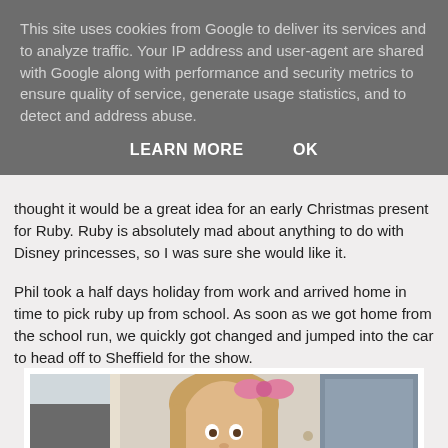This site uses cookies from Google to deliver its services and to analyze traffic. Your IP address and user-agent are shared with Google along with performance and security metrics to ensure quality of service, generate usage statistics, and to detect and address abuse.
LEARN MORE    OK
thought it would be a great idea for an early Christmas present for Ruby. Ruby is absolutely mad about anything to do with Disney princesses, so I was sure she would like it.
Phil took a half days holiday from work and arrived home in time to pick ruby up from school. As soon as we got home from the school run, we quickly got changed and jumped into the car to head off to Sheffield for the show.
[Figure (photo): Photo of a young girl with braided hair and a pink bow, standing near a door with a window visible in the background]